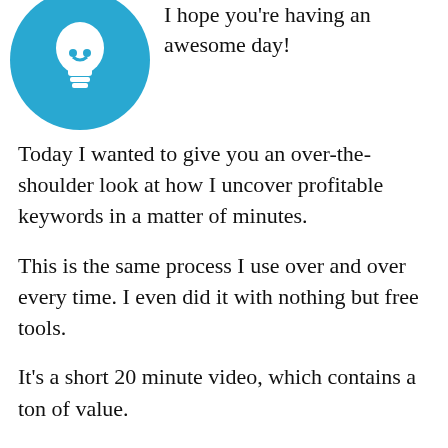[Figure (illustration): Blue circle with white lightbulb icon]
I hope you're having an awesome day!
Today I wanted to give you an over-the-shoulder look at how I uncover profitable keywords in a matter of minutes.
This is the same process I use over and over every time. I even did it with nothing but free tools.
It's a short 20 minute video, which contains a ton of value.
My Simple Process For...